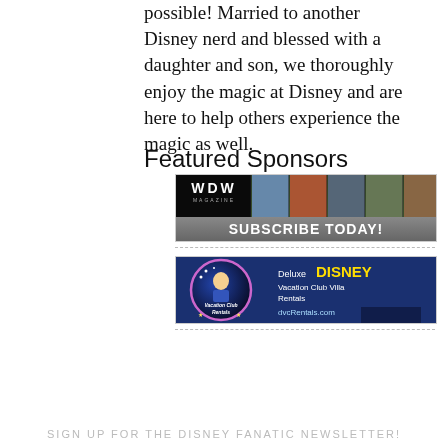possible! Married to another Disney nerd and blessed with a daughter and son, we thoroughly enjoy the magic at Disney and are here to help others experience the magic as well.
Featured Sponsors
[Figure (illustration): WDW Magazine advertisement showing the magazine logo on black background on the left, several colorful magazine covers in a row, and bold white text reading 'SUBSCRIBE TODAY!' on a green/gray textured bottom banner.]
[Figure (illustration): David's Vacation Club Rentals advertisement on a dark blue background. Left side shows a circular logo with a cartoon character and purple border. Right side reads 'Deluxe DISNEY' (DISNEY in large yellow bold), 'Vacation Club Villa Rentals', and 'dvcRentals.com'.]
SIGN UP FOR THE DISNEY FANATIC NEWSLETTER!